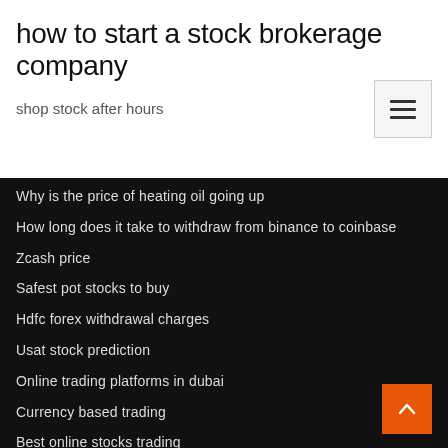how to start a stock brokerage company
shop stock after hours
Why is the price of heating oil going up
How long does it take to withdraw from binance to coinbase
Zcash price
Safest pot stocks to buy
Hdfc forex withdrawal charges
Usat stock prediction
Online trading platforms in dubai
Currency based trading
Best online stocks trading